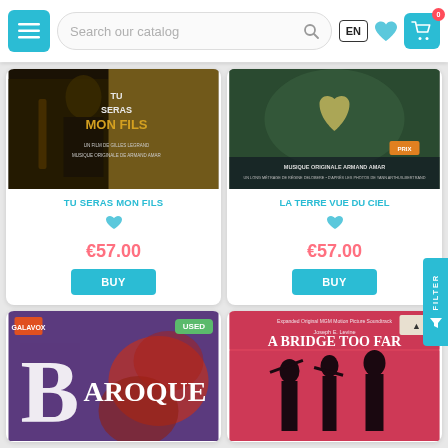Search our catalog | EN | 0 cart items
[Figure (screenshot): Product card: Tu Seras Mon Fils movie soundtrack - film poster with dark background showing a man with guitar, text 'TU SERAS MON FILS UN FILM DE GILLES LEGRAND MUSIQUE ORIGINALE DE ARMAND AMAR']
TU SERAS MON FILS
€57.00
BUY
[Figure (screenshot): Product card: La Terre Vue Du Ciel soundtrack - aerial photo of a heart shape in a green field. Text: MUSIQUE ORIGINALE ARMAND AMAR, UN LONG METRAGE DE REGINE DELOBERE, D APRES LES PHOTOS DE YANN ARTHUS BERTRAND]
LA TERRE VUE DU CIEL
€57.00
BUY
[Figure (screenshot): Product card (partial): Baroque album cover with purple/red abstract design and large letter B. Has a USED badge and a Galavox label logo.]
[Figure (screenshot): Product card (partial): A Bridge Too Far - Expanded Original MGM Motion Picture Soundtrack. Pink/red illustrated cover with soldiers silhouettes.]